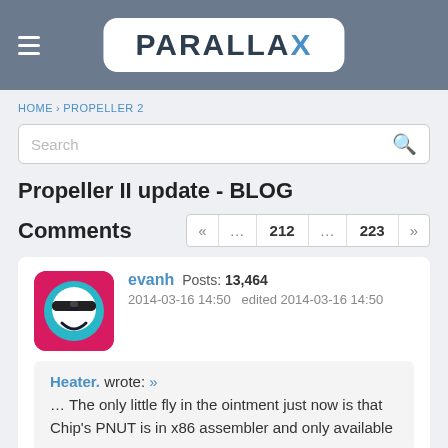[Figure (logo): Parallax logo in white rounded rectangle on gray header bar with hamburger menu icon]
HOME › PROPELLER 2
Propeller II update - BLOG
Comments
« … 212 … 223 »
evanh  Posts: 13,464
2014-03-16 14:50   edited 2014-03-16 14:50
Heater. wrote: »
... The only little fly in the ointment just now is that Chip's PNUT is in x86 assembler and only available